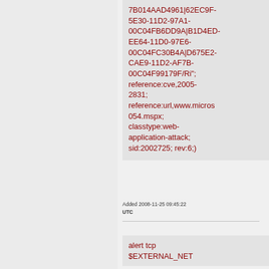7B014AAD4961|62EC9F-5E30-11D2-97A1-00C04FB6DD9A|B1D4ED-EE64-11D0-97E6-00C04FC30B4A|D675E2-CAE9-11D2-AF7B-00C04F99179F/Ri"; reference:cve,2005-2831; reference:url,www.micros054.mspx; classtype:web-application-attack; sid:2002725; rev:6;)
Added 2008-11-25 09:45:22 UTC
alert tcp $EXTERNAL_NET